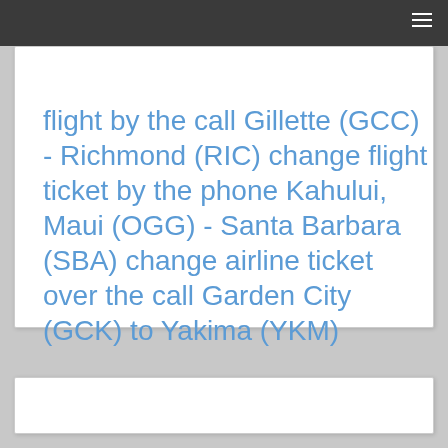flight by the call Gillette (GCC) - Richmond (RIC) change flight ticket by the phone Kahului, Maui (OGG) - Santa Barbara (SBA) change airline ticket over the call Garden City (GCK) to Yakima (YKM)